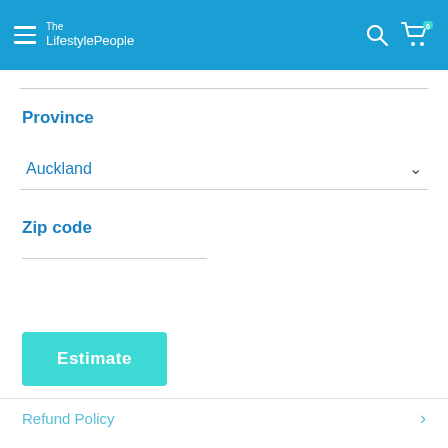The LifestylePeople
Province
Auckland
Zip code
Estimate
Refund Policy